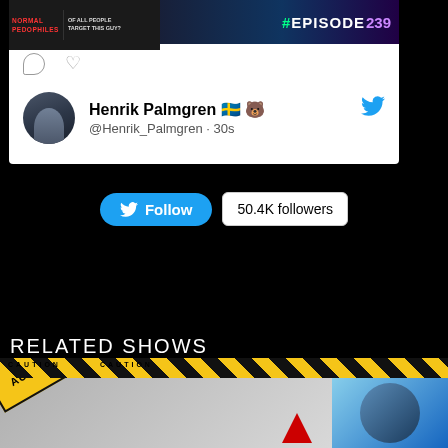[Figure (screenshot): Tweet card showing video thumbnail for episode 239 with 'NORMAL PEDOPHILES' and 'OF ALL PEOPLE TARGET THIS GUY?' text overlays, and action icons (comment bubble and heart)]
[Figure (screenshot): Twitter profile card for Henrik Palmgren with Swedish flag and bear emoji, handle @Henrik_Palmgren, posted 30s ago, with Twitter bird icon]
[Figure (screenshot): Twitter Follow button (blue) and '50.4K followers' badge on black background]
RELATED SHOWS
[Figure (screenshot): Related shows section with caution tape strip and two show thumbnail images, one with 'AUDIO VERSION' diagonal badge overlay and another showing a man's face on blue background]